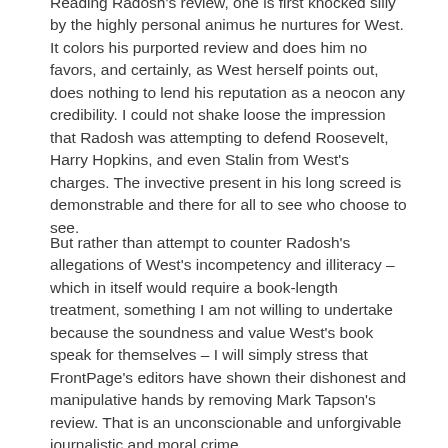Reading Radosh's review, one is first knocked silly by the highly personal animus he nurtures for West. It colors his purported review and does him no favors, and certainly, as West herself points out, does nothing to lend his reputation as a neocon any credibility. I could not shake loose the impression that Radosh was attempting to defend Roosevelt, Harry Hopkins, and even Stalin from West's charges. The invective present in his long screed is demonstrable and there for all to see who choose to see.
But rather than attempt to counter Radosh's allegations of West's incompetency and illiteracy – which in itself would require a book-length treatment, something I am not willing to undertake because the soundness and value West's book speak for themselves – I will simply stress that FrontPage's editors have shown their dishonest and manipulative hands by removing Mark Tapson's review. That is an unconscionable and unforgivable journalistic and moral crime.